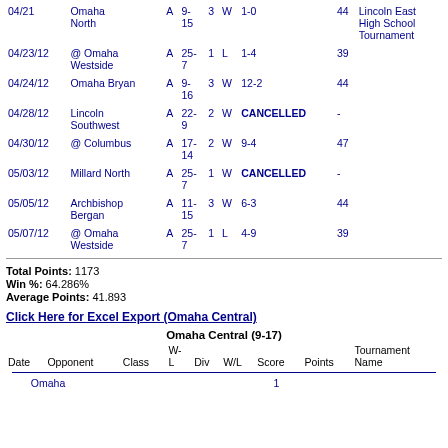| Date | Opponent | Class | W-L | Div | W/L | Score | Points | Tournament Name |
| --- | --- | --- | --- | --- | --- | --- | --- | --- |
| 04/21 | Omaha North | A | 9-15 | 3 | W | 1-0 | 44 | Lincoln East High School Tournament |
| 04/23/12 | @ Omaha Westside | A | 25-7 | 1 | L | 1-4 | 39 |  |
| 04/24/12 | Omaha Bryan | A | 9-16 | 3 | W | 12-2 | 44 |  |
| 04/28/12 | Lincoln Southwest | A | 22-9 | 2 | W | CANCELLED | - |  |
| 04/30/12 | @ Columbus | A | 17-14 | 2 | W | 9-4 | 47 |  |
| 05/03/12 | Millard North | A | 25-7 | 1 | W | CANCELLED | - |  |
| 05/05/12 | Archbishop Bergan | A | 11-15 | 3 | W | 6-3 | 44 |  |
| 05/07/12 | @ Omaha Westside | A | 25-7 | 1 | L | 4-9 | 39 |  |
Total Points: 1173
Win %: 64.286%
Average Points: 41.893
Click Here for Excel Export (Omaha Central)
| Date | Opponent | Class | W-L | Div | W/L | Score | Points | Tournament Name |
| --- | --- | --- | --- | --- | --- | --- | --- | --- |
| Omaha |  | 1 |  |  |  |  |  |  |